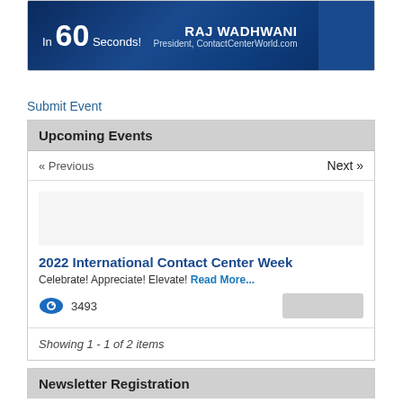[Figure (photo): Banner image with dark blue background showing text 'In 60 Seconds!' with large '60', and 'RAJ WADHWANI President, ContactCenterWorld.com' on the right side with a person photo]
Submit Event
Upcoming Events
« Previous   Next »
2022 International Contact Center Week
Celebrate! Appreciate! Elevate! Read More...
3493
Showing 1 - 1 of 2 items
Newsletter Registration